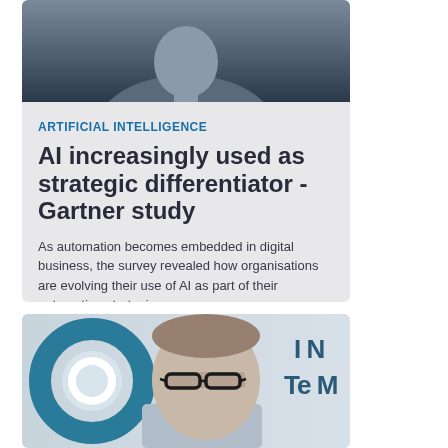[Figure (photo): Photo of a person in dark clothing, upper portion visible, gray-blue background, top of article card]
ARTIFICIAL INTELLIGENCE
AI increasingly used as strategic differentiator - Gartner study
As automation becomes embedded in digital business, the survey revealed how organisations are evolving their use of AI as part of their automation strategies.
[Figure (photo): Photo of a middle-aged man with glasses and short gray-brown hair, in front of a sign showing partial text including 'Te M', with a teal circular logo visible on the left]